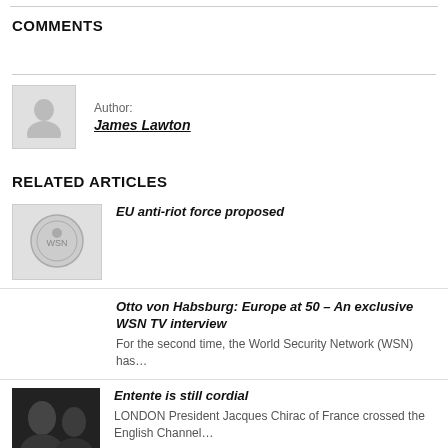COMMENTS
Author: James Lawton
RELATED ARTICLES
EU anti-riot force proposed
Otto von Habsburg: Europe at 50 – An exclusive WSN TV interview
For the second time, the World Security Network (WSN) has…
Entente is still cordial
LONDON President Jacques Chirac of France crossed the English Channel…